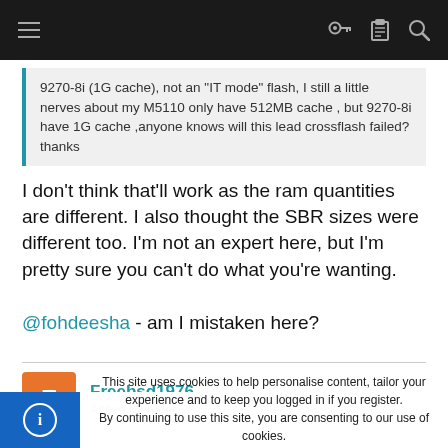Navigation bar with hamburger menu and icons
9270-8i (1G cache), not an "IT mode" flash, I still a little nerves about my M5110 only have 512MB cache , but 9270-8i have 1G cache ,anyone knows will this lead crossflash failed? thanks
I don't think that'll work as the ram quantities are different. I also thought the SBR sizes were different too. I'm not an expert here, but I'm pretty sure you can't do what you're wanting.
@fohdeesha - am I mistaken here?
Freebsd1976
Active Member
This site uses cookies to help personalise content, tailor your experience and to keep you logged in if you register.
By continuing to use this site, you are consenting to our use of cookies.